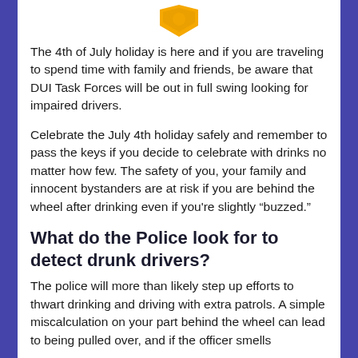[Figure (illustration): Gold/yellow shield or badge icon at the top center of the page]
The 4th of July holiday is here and if you are traveling to spend time with family and friends, be aware that DUI Task Forces will be out in full swing looking for impaired drivers.
Celebrate the July 4th holiday safely and remember to pass the keys if you decide to celebrate with drinks no matter how few. The safety of you, your family and innocent bystanders are at risk if you are behind the wheel after drinking even if you're slightly “buzzed.”
What do the Police look for to detect drunk drivers?
The police will more than likely step up efforts to thwart drinking and driving with extra patrols. A simple miscalculation on your part behind the wheel can lead to being pulled over, and if the officer smells